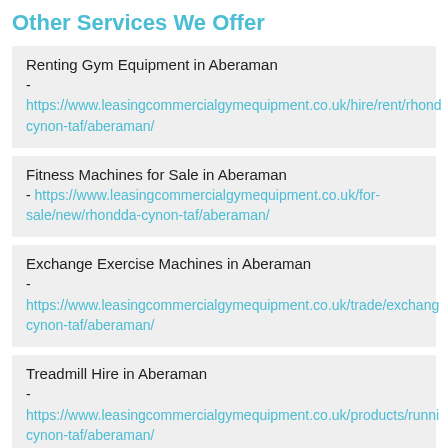Other Services We Offer
Renting Gym Equipment in Aberaman - https://www.leasingcommercialgymequipment.co.uk/hire/rent/rhondda-cynon-taf/aberaman/
Fitness Machines for Sale in Aberaman - https://www.leasingcommercialgymequipment.co.uk/for-sale/new/rhondda-cynon-taf/aberaman/
Exchange Exercise Machines in Aberaman - https://www.leasingcommercialgymequipment.co.uk/trade/exchange/rhondda-cynon-taf/aberaman/
Treadmill Hire in Aberaman - https://www.leasingcommercialgymequipment.co.uk/products/running/rhondda-cynon-taf/aberaman/
Gym Design Layout in Aberaman